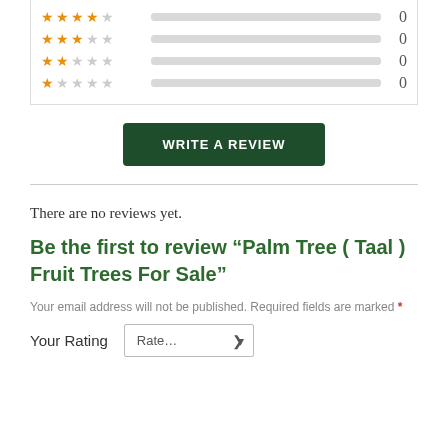[Figure (other): Star rating distribution bars showing 4-star, 3-star, 2-star, and 1-star ratings all at 0]
WRITE A REVIEW
There are no reviews yet.
Be the first to review “Palm Tree ( Taal ) Fruit Trees For Sale”
Your email address will not be published. Required fields are marked *
Your Rating  Rate...